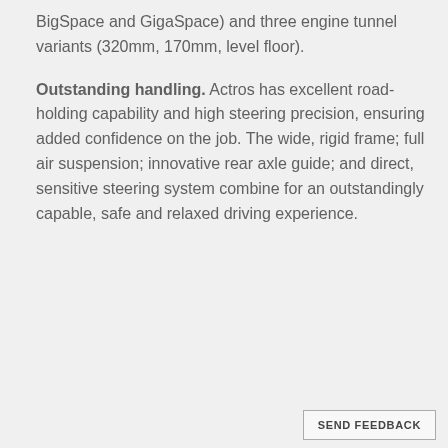BigSpace and GigaSpace) and three engine tunnel variants (320mm, 170mm, level floor).
Outstanding handling. Actros has excellent road-holding capability and high steering precision, ensuring added confidence on the job. The wide, rigid frame; full air suspension; innovative rear axle guide; and direct, sensitive steering system combine for an outstandingly capable, safe and relaxed driving experience.
SEND FEEDBACK